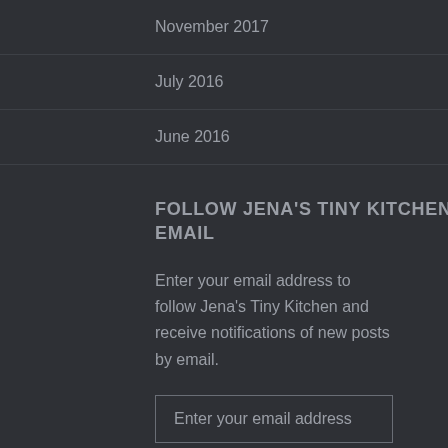November 2017
July 2016
June 2016
FOLLOW JENA'S TINY KITCHEN VIA EMAIL
Enter your email address to follow Jena's Tiny Kitchen and receive notifications of new posts by email.
Enter your email address
FOLLOW